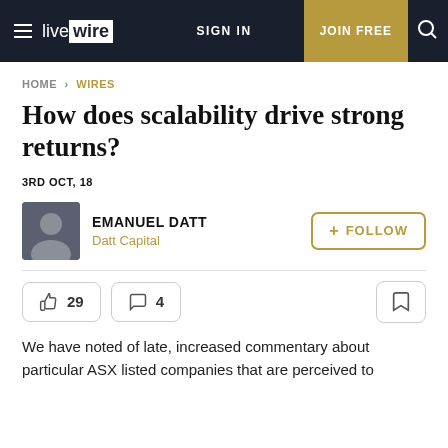livewire | SIGN IN | JOIN FREE
HOME > WIRES
How does scalability drive strong returns?
3RD OCT, 18
EMANUEL DATT
Datt Capital
29 likes, 4 comments
We have noted of late, increased commentary about particular ASX listed companies that are perceived to